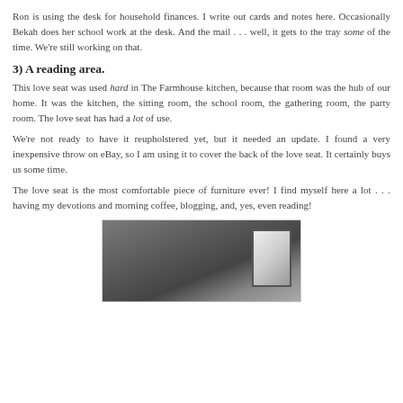Ron is using the desk for household finances. I write out cards and notes here. Occasionally Bekah does her school work at the desk. And the mail . . . well, it gets to the tray some of the time. We're still working on that.
3) A reading area.
This love seat was used hard in The Farmhouse kitchen, because that room was the hub of our home. It was the kitchen, the sitting room, the school room, the gathering room, the party room. The love seat has had a lot of use.
We're not ready to have it reupholstered yet, but it needed an update. I found a very inexpensive throw on eBay, so I am using it to cover the back of the love seat. It certainly buys us some time.
The love seat is the most comfortable piece of furniture ever! I find myself here a lot . . . having my devotions and morning coffee, blogging, and, yes, even reading!
[Figure (photo): A partially visible photo showing what appears to be a dark wood surface and a framed picture or mirror, taken indoors.]